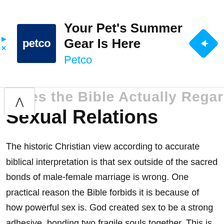[Figure (other): Petco advertisement banner with Petco logo (dark blue square with white 'petco' text), ad headline 'Your Pet's Summer Gear Is Here', subtext 'Petco' in cyan, and a blue navigation diamond icon on the right. Play and close (X) icons on far left.]
Sexual Relations
The historic Christian view according to accurate biblical interpretation is that sex outside of the sacred bonds of male-female marriage is wrong. One practical reason the Bible forbids it is because of how powerful sex is. God created sex to be a strong adhesive, bonding two fragile souls together. This is why feelings of “heartbreak” often happen when people who’ve engaged in sexual intercourse then go their separate ways. In God’s good design, sex is reserved for a man and a woman who have entered into a legally binding marriage covenant. This kind of life-long commitment forms the basis for a garden-like relationship in